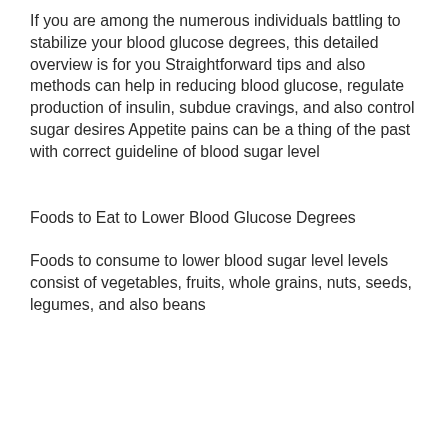If you are among the numerous individuals battling to stabilize your blood glucose degrees, this detailed overview is for you Straightforward tips and also methods can help in reducing blood glucose, regulate production of insulin, subdue cravings, and also control sugar desires Appetite pains can be a thing of the past with correct guideline of blood sugar level
Foods to Eat to Lower Blood Glucose Degrees
Foods to consume to lower blood sugar level levels consist of vegetables, fruits, whole grains, nuts, seeds, legumes, and also beans